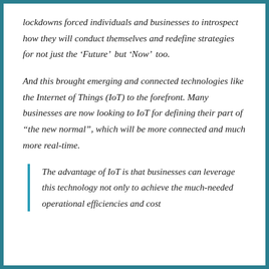lockdowns forced individuals and businesses to introspect how they will conduct themselves and redefine strategies for not just the ‘Future’ but ‘Now’ too.
And this brought emerging and connected technologies like the Internet of Things (IoT) to the forefront. Many businesses are now looking to IoT for defining their part of “the new normal”, which will be more connected and much more real-time.
The advantage of IoT is that businesses can leverage this technology not only to achieve the much-needed operational efficiencies and cost